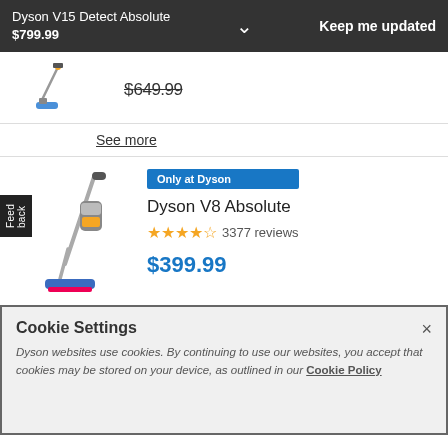Dyson V15 Detect Absolute $799.99 | Keep me updated
$649.99
See more
Only at Dyson
Dyson V8 Absolute
★★★★☆ 3377 reviews
$399.99
Cookie Settings
Dyson websites use cookies. By continuing to use our websites, you accept that cookies may be stored on your device, as outlined in our Cookie Policy